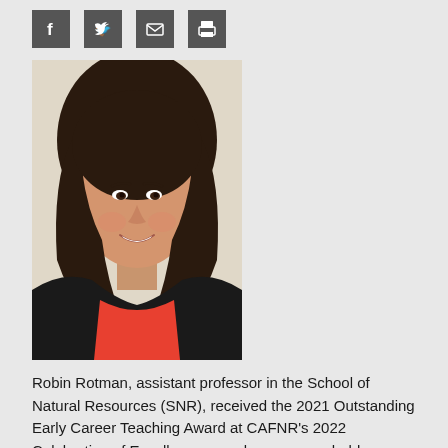[Figure (other): Social media sharing icons: Facebook, Twitter, Email, Print]
[Figure (photo): Headshot of Robin Rotman, a woman with long dark hair, smiling, wearing a black blazer over an orange/red top, against a light background.]
Robin Rotman, assistant professor in the School of Natural Resources (SNR), received the 2021 Outstanding Early Career Teaching Award at CAFNR's 2022 Celebration of Excellence awards ceremony, held Tuesday, April 19.
Rotman earned her bachelor's degree in geology from Sewanee: The University of the South, in